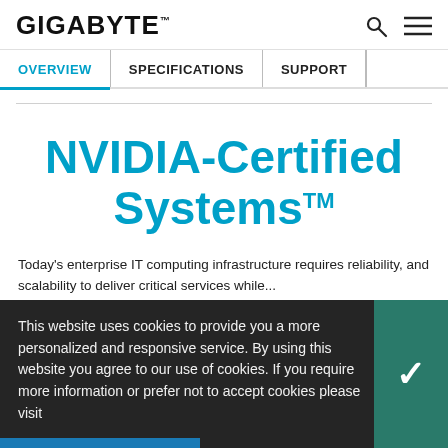GIGABYTE™
OVERVIEW | SPECIFICATIONS | SUPPORT
NVIDIA-Certified Systems™
Today's enterprise IT computing infrastructure requires reliability, and scalability to deliver critical services while...
This website uses cookies to provide you a more personalized and responsive service. By using this website you agree to our use of cookies. If you require more information or prefer not to accept cookies please visit